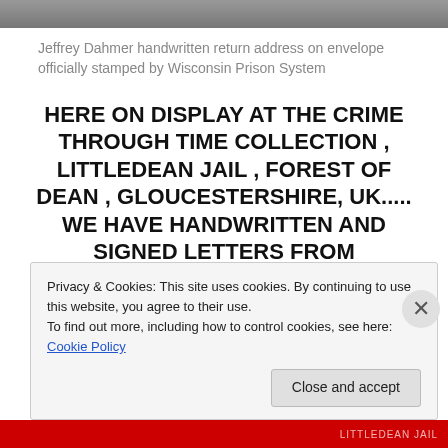[Figure (photo): Partial photo strip at the top of the page, showing a dark/gray image of an envelope or document]
Jeffrey Dahmer handwritten return address on envelope officially stamped by Wisconsin Prison System
HERE ON DISPLAY AT THE CRIME THROUGH TIME COLLECTION , LITTLEDEAN JAIL , FOREST OF DEAN , GLOUCESTERSHIRE, UK..... WE HAVE HANDWRITTEN AND SIGNED LETTERS FROM
Privacy & Cookies: This site uses cookies. By continuing to use this website, you agree to their use.
To find out more, including how to control cookies, see here: Cookie Policy
Close and accept